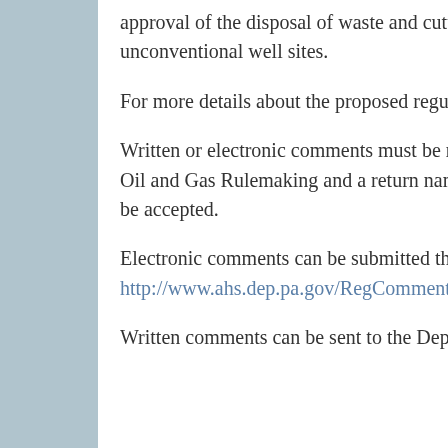approval of the disposal of waste and cuttings from below the casing seat at unconventional well sites.
For more details about the proposed regulations, visit Title 25 at pabulletin.com.
Written or electronic comments must be received by May 19, with a subject heading Oil and Gas Rulemaking and a return name and address. Faxes and voicemail will not be accepted.
Electronic comments can be submitted through the DEP online comment system at http://www.ahs.dep.pa.gov/RegComments or by email to RegComments@pa.gov.
Written comments can be sent to the Department of Environmental Protection